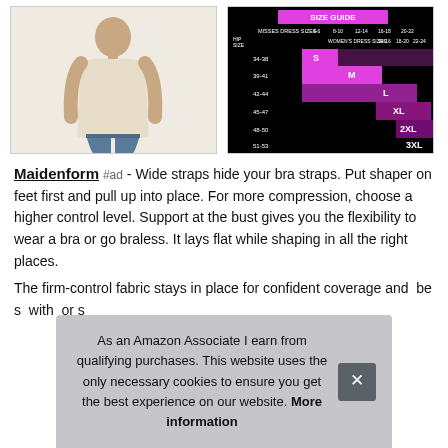[Figure (photo): Woman wearing a beige/cream sleeveless shaper top with blue jeans, photographed from behind/side]
[Figure (table-as-image): Size guide chart with hip size measurements and dress sizes S, M, L, XL, 2XL, 3XL shown on a pink/magenta gradient background with black border]
Maidenform #ad - Wide straps hide your bra straps. Put shaper on feet first and pull up into place. For more compression, choose a higher control level. Support at the bust gives you the flexibility to wear a bra or go braless. It lays flat while shaping in all the right places.
The firm-control fabric stays in place for confident coverage and...
As an Amazon Associate I earn from qualifying purchases. This website uses the only necessary cookies to ensure you get the best experience on our website. More information